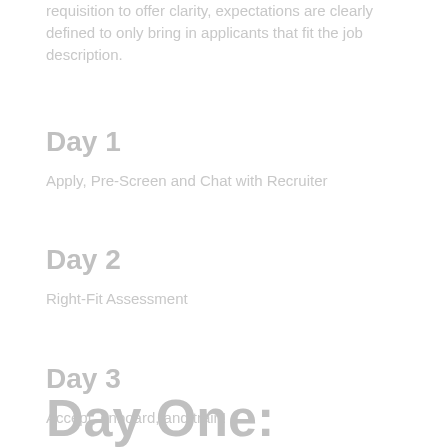requisition to offer clarity, expectations are clearly defined to only bring in applicants that fit the job description.
Day 1
Apply, Pre-Screen and Chat with Recruiter
Day 2
Right-Fit Assessment
Day 3
Accept, onboard, and train!
Day One: Automated and